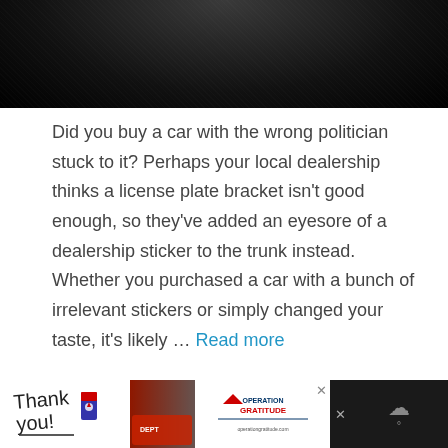[Figure (photo): Dark close-up photo of a car surface, showing a dark textured/metallic finish, cropped at the top of the page.]
Did you buy a car with the wrong politician stuck to it? Perhaps your local dealership thinks a license plate bracket isn't good enough, so they've added an eyesore of a dealership sticker to the trunk instead. Whether you purchased a car with a bunch of irrelevant stickers or simply changed your taste, it's likely … Read more
Car Care Tips
[Figure (advertisement): Advertisement bar at the bottom: 'Thank you' handwritten text with American flag pencil, photo of firefighters in front of a fire truck, and Operation Gratitude logo. Dark background with close buttons.]